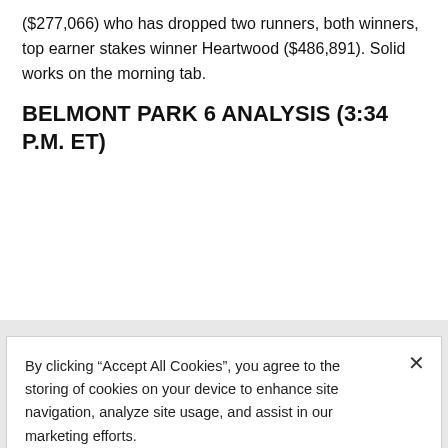($277,066) who has dropped two runners, both winners, top earner stakes winner Heartwood ($486,891). Solid works on the morning tab.
BELMONT PARK 6 ANALYSIS (3:34 P.M. ET)
By clicking “Accept All Cookies”, you agree to the storing of cookies on your device to enhance site navigation, analyze site usage, and assist in our marketing efforts.
Cookies Settings
Reject All
Accept All Cookies